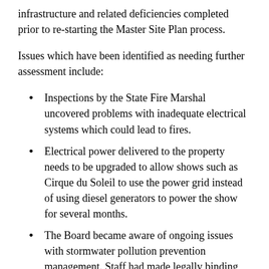infrastructure and related deficiencies completed prior to re-starting the Master Site Plan process.
Issues which have been identified as needing further assessment include:
Inspections by the State Fire Marshal uncovered problems with inadequate electrical systems which could lead to fires.
Electrical power delivered to the property needs to be upgraded to allow shows such as Cirque du Soleil to use the power grid instead of using diesel generators to power the show for several months.
The Board became aware of ongoing issues with stormwater pollution prevention management. Staff had made legally binding commitments and hired